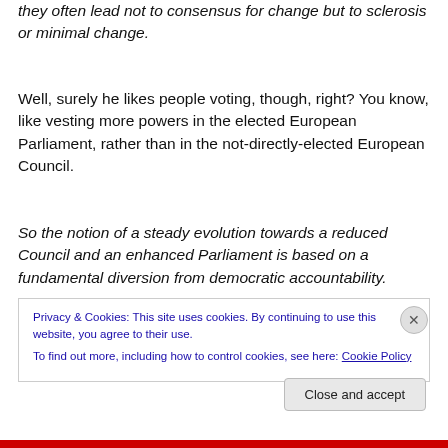they often lead not to consensus for change but to sclerosis or minimal change.
Well, surely he likes people voting, though, right? You know, like vesting more powers in the elected European Parliament, rather than in the not-directly-elected European Council.
So the notion of a steady evolution towards a reduced Council and an enhanced Parliament is based on a fundamental diversion from democratic accountability.
Privacy & Cookies: This site uses cookies. By continuing to use this website, you agree to their use.
To find out more, including how to control cookies, see here: Cookie Policy